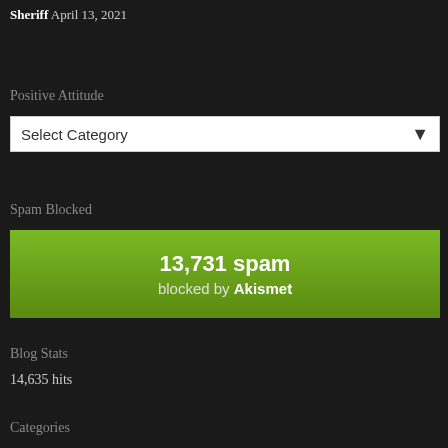... Sheriff April 13, 2021
Positive Attitude
Select Category
Spam Blocked
[Figure (infographic): Green Akismet spam blocked badge showing '13,731 spam blocked by Akismet']
Blog Stats
14,635 hits
Categories